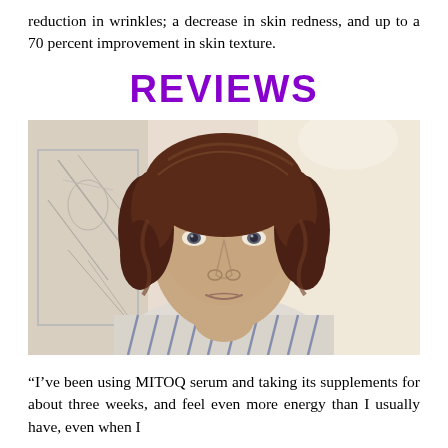reduction in wrinkles; a decrease in skin redness, and up to a 70 percent improvement in skin texture.
REVIEWS
[Figure (photo): Close-up portrait photo of a middle-aged woman with curly dark reddish-brown hair, neutral expression, wearing a striped shirt, with a light background]
“I’ve been using MITOQ serum and taking its supplements for about three weeks, and feel even more energy than I usually have, even when I